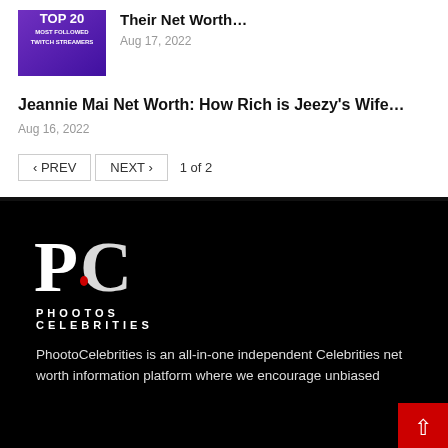[Figure (photo): Thumbnail image for Top 20 Most Followed Twitch Streamers article, purple background with white text]
Their Net Worth…
Aug 17, 2022
Jeannie Mai Net Worth: How Rich is Jeezy's Wife…
Aug 16, 2022
‹ PREV   NEXT ›   1 of 2
[Figure (logo): Phootos Celebrities logo — stylized PC letters in white on black background with red accent, brand name below]
PhootsCelebrities is an all-in-one independent Celebrities net worth information platform where we encourage unbiased